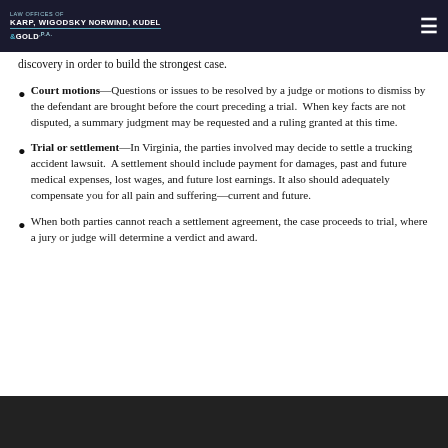Karp, Wigodsky, Norwind, Kudel & Gold, P.A.
discovery in order to build the strongest case.
Court motions—Questions or issues to be resolved by a judge or motions to dismiss by the defendant are brought before the court preceding a trial.  When key facts are not disputed, a summary judgment may be requested and a ruling granted at this time.
Trial or settlement—In Virginia, the parties involved may decide to settle a trucking accident lawsuit.  A settlement should include payment for damages, past and future medical expenses, lost wages, and future lost earnings. It also should adequately compensate you for all pain and suffering—current and future.
When both parties cannot reach a settlement agreement, the case proceeds to trial, where a jury or judge will determine a verdict and award.